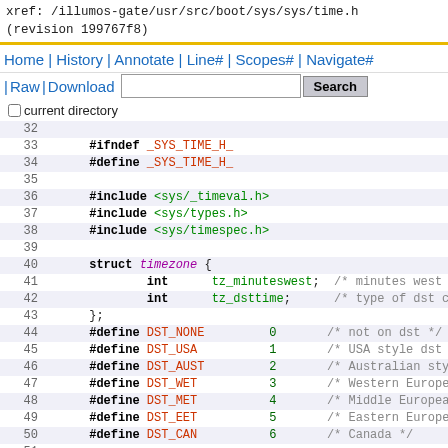xref: /illumos-gate/usr/src/boot/sys/sys/time.h
(revision 199767f8)
Home | History | Annotate | Line# | Scopes# | Navigate#
| Raw | Download   [search box]  Search
current directory
[Figure (screenshot): Source code viewer showing lines 32-55 of time.h with syntax highlighting. Lines include #ifndef _SYS_TIME_H_, #define _SYS_TIME_H_, #include directives, struct timezone definition, #define DST_NONE through DST_CAN, #if __BSD_VISIBLE, struct bintime definition.]